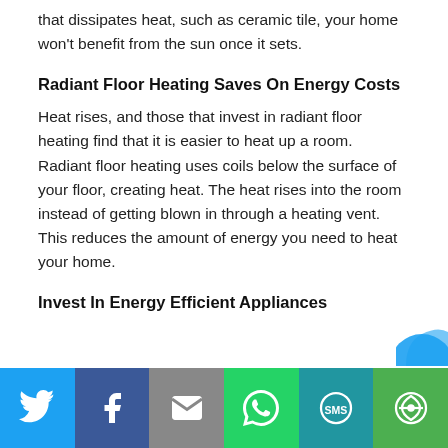that dissipates heat, such as ceramic tile, your home won't benefit from the sun once it sets.
Radiant Floor Heating Saves On Energy Costs
Heat rises, and those that invest in radiant floor heating find that it is easier to heat up a room. Radiant floor heating uses coils below the surface of your floor, creating heat. The heat rises into the room instead of getting blown in through a heating vent. This reduces the amount of energy you need to heat your home.
Invest In Energy Efficient Appliances
[Figure (other): Social sharing bar with Twitter, Facebook, Email, WhatsApp, SMS, and More buttons]